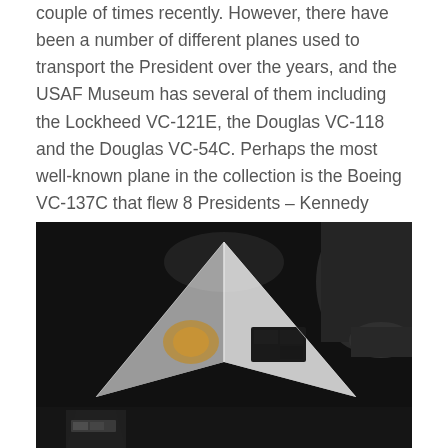couple of times recently. However, there have been a number of different planes used to transport the President over the years, and the USAF Museum has several of them including the Lockheed VC-121E, the Douglas VC-118 and the Douglas VC-54C. Perhaps the most well-known plane in the collection is the Boeing VC-137C that flew 8 Presidents – Kennedy through Clinton.
[Figure (photo): A dark museum interior photo showing the nose and cockpit area of a stealth aircraft (likely the F-117 Nighthawk), viewed from above and slightly to the side, with a distinctive faceted diamond-shaped nose cone illuminated against a black background. Other aircraft are partially visible on the right and bottom edges.]